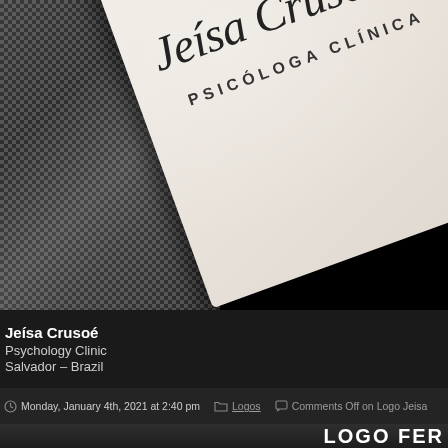[Figure (photo): A business card for Jeísa Crusoé, Psicóloga Clínica (Clinical Psychologist), shown at an angle on a dark textured background. The card is white/cream with the name in italic script and the title in spaced capital letters.]
Jeísa Crusoé
Psychology Clinic
Salvador – Brazil
Monday, January 4th, 2021 at 2:40 pm   Logos   Comments Off on Logo Jeisa
LOGO FER